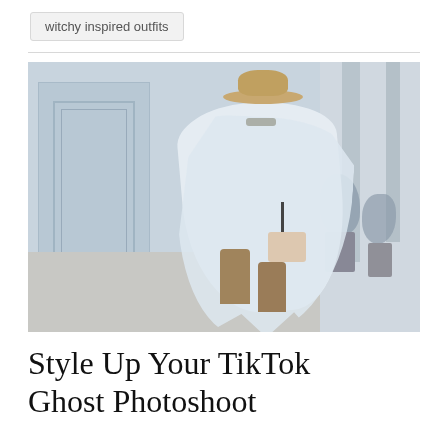witchy inspired outfits
[Figure (photo): Person dressed as a ghost wearing a white sheet draped over them, a wide-brim tan hat, sunglasses, cowboy boots, and carrying a handbag, walking on a sidewalk in front of a light blue building with columns and potted plants]
Style Up Your TikTok Ghost Photoshoot